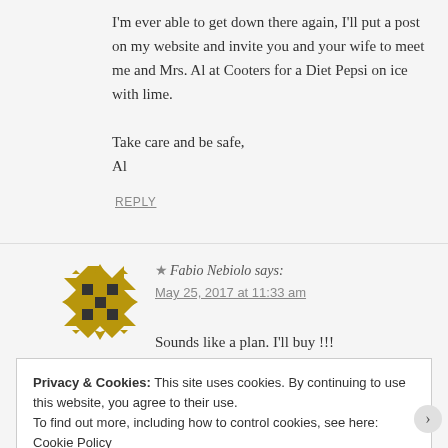I'm ever able to get down there again, I'll put a post on my website and invite you and your wife to meet me and Mrs. Al at Cooters for a Diet Pepsi on ice with lime.
Take care and be safe,
Al
REPLY
[Figure (illustration): Gold and black geometric quilt-pattern avatar icon]
★ Fabio Nebiolo says:
May 25, 2017 at 11:33 am
Sounds like a plan. I'll buy !!!
Privacy & Cookies: This site uses cookies. By continuing to use this website, you agree to their use.
To find out more, including how to control cookies, see here: Cookie Policy
Close and accept